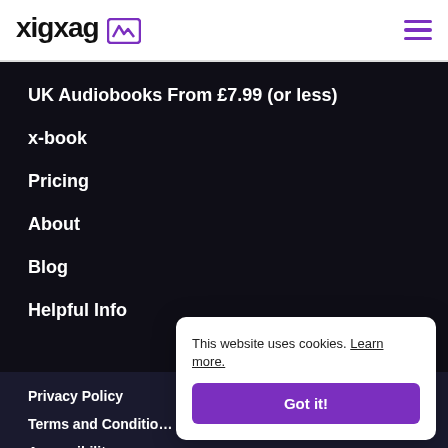xigxag
UK Audiobooks From £7.99 (or less)
x-book
Pricing
About
Blog
Helpful Info
Privacy Policy
Terms and Conditions
Accessibility
This website uses cookies. Learn more.
Got it!